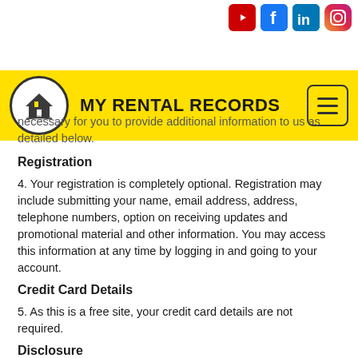[Figure (logo): Social media icons bar: YouTube (red), Facebook (blue), LinkedIn (blue), Instagram (gradient)]
[Figure (logo): My Rental Records website header with logo (house icon in circle) and site title MY RENTAL RECORDS on yellow background with hamburger menu]
necessary for you to provide additional information to us as detailed below.
Registration
4. Your registration is completely optional. Registration may include submitting your name, email address, address, telephone numbers, option on receiving updates and promotional material and other information. You may access this information at any time by logging in and going to your account.
Credit Card Details
5. As this is a free site, your credit card details are not required.
Disclosure
6. Apart from where you have consented or